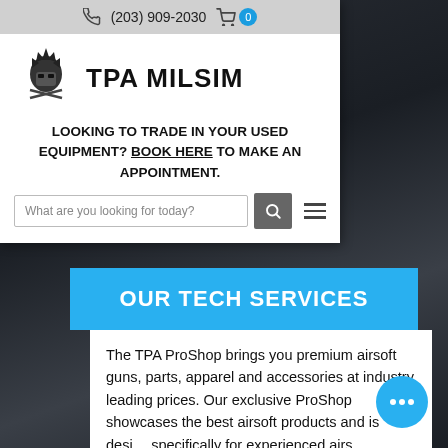(203) 909-2030
[Figure (logo): TPA Milsim samurai logo with crossed weapons]
TPA MILSIM
LOOKING TO TRADE IN YOUR USED EQUIPMENT? BOOK HERE TO MAKE AN APPOINTMENT.
[Figure (screenshot): Search bar with placeholder 'What are you looking for today?' and search button]
OUR TECH SERVICES
The TPA ProShop brings you premium airsoft guns, parts, apparel and accessories at industry leading prices. Our exclusive ProShop showcases the best airsoft products and is designed specifically for experienced airsoft players looking for high end and